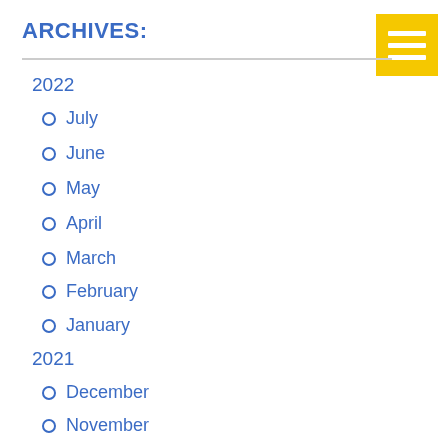ARCHIVES:
2022
July
June
May
April
March
February
January
2021
December
November
October
September
August